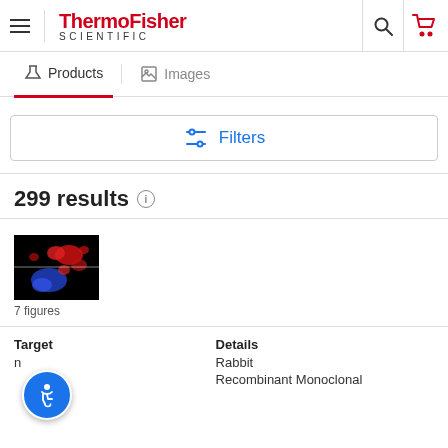[Figure (logo): ThermoFisher Scientific logo with hamburger menu, search and cart icons]
Products | Images
Filters
299 results
[Figure (photo): Fluorescence microscopy image showing cells with red and blue staining on black background]
7 figures
Target
n
Details
Rabbit
Recombinant Monoclonal